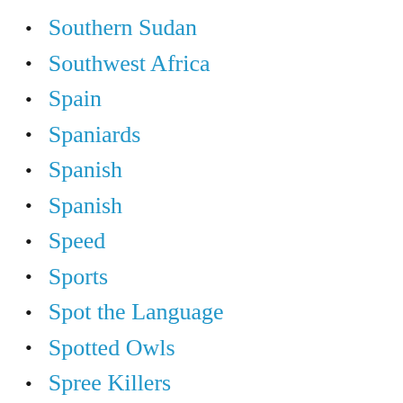South Uzbek
Southern Sudan
Southwest Africa
Spain
Spaniards
Spanish
Spanish
Speed
Sports
Spot the Language
Spotted Owls
Spree Killers
Sri Lanka
Sri Lankans
St. Barts
St. Kitts